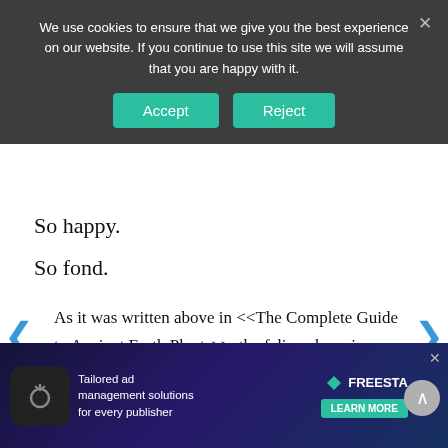[Figure (screenshot): Cookie consent banner with dark grey background, text 'We use cookies to ensure that we give you the best experience on our website. If you continue to use this site we will assume that you are happy with it.' with Accept and Reject teal buttons and an X close button.]
So happy.
So fond.
As it was written above in <<The Complete Guide to Ancient Earth Plants>>, the feline obsession with catnip was written in the genes, and right now, Ji Mei was so filled with inexplicable joy that she lost her reasoning and was almost ruled by instinct.
[Figure (screenshot): Advertisement banner for Tailored ad management solutions for every publisher, with Freesta logo and Learn More button, dark space-themed background.]